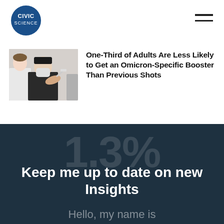[Figure (logo): CivicScience logo — blue speech bubble circle with white text 'CIVIC SCIENCE']
[Figure (photo): Photo of a person in a black t-shirt and face mask receiving a vaccine injection in the upper arm from a healthcare worker in a white coat]
One-Third of Adults Are Less Likely to Get an Omicron-Specific Booster Than Previous Shots
1.3%
Keep me up to date on new Insights
Hello, my name is